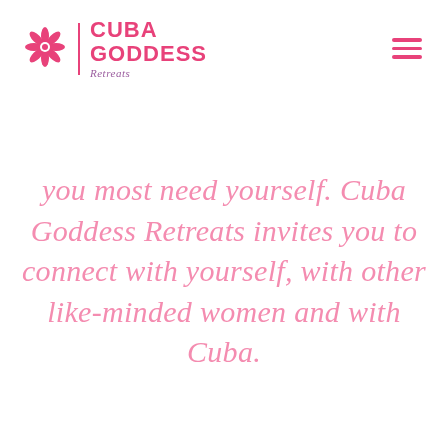[Figure (logo): Cuba Goddess Retreats logo with pink flower/snowflake icon, vertical pink divider, bold pink text CUBA GODDESS, and italic purple Retreats text below]
you most need yourself. Cuba Goddess Retreats invites you to connect with yourself, with other like-minded women and with Cuba.
(partial text cut off at bottom)